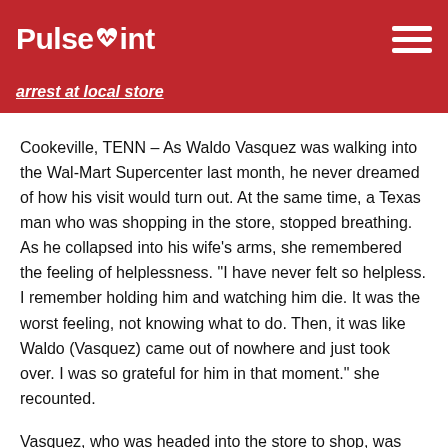PulsePoint
arrest at local store
Cookeville, TENN – As Waldo Vasquez was walking into the Wal-Mart Supercenter last month, he never dreamed of how his visit would turn out. At the same time, a Texas man who was shopping in the store, stopped breathing. As he collapsed into his wife's arms, she remembered the feeling of helplessness. "I have never felt so helpless. I remember holding him and watching him die. It was the worst feeling, not knowing what to do. Then, it was like Waldo (Vasquez) came out of nowhere and just took over. I was so grateful for him in that moment." she recounted.
Vasquez, who was headed into the store to shop, was walking through the parking lot when he was first notified. "I was walking in and my phone started making noise. It was